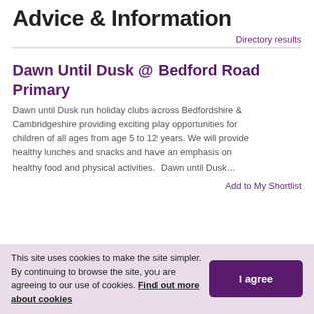Advice & Information
Directory results
Dawn Until Dusk @ Bedford Road Primary
Dawn until Dusk run holiday clubs across Bedfordshire & Cambridgeshire providing exciting play opportunities for children of all ages from age 5 to 12 years. We will provide healthy lunches and snacks and have an emphasis on healthy food and physical activities.  Dawn until Dusk…
Add to My Shortlist
This site uses cookies to make the site simpler. By continuing to browse the site, you are agreeing to our use of cookies. Find out more about cookies